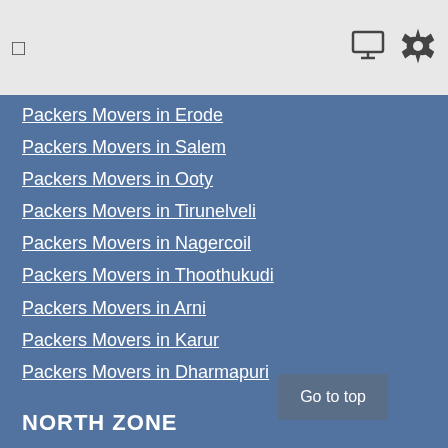☰  [monitor icon] [gear icon]
Packers Movers in Erode
Packers Movers in Salem
Packers Movers in Ooty
Packers Movers in Tirunelveli
Packers Movers in Nagercoil
Packers Movers in Thoothukudi
Packers Movers in Arni
Packers Movers in Karur
Packers Movers in Dharmapuri
NORTH ZONE
Packers Movers in Lucknow
Packers Movers in Noida
Packers Movers Kanpur
Packers Movers in Kangra
Packers Movers in Sunder Nagar
PUNJAB
Go to top